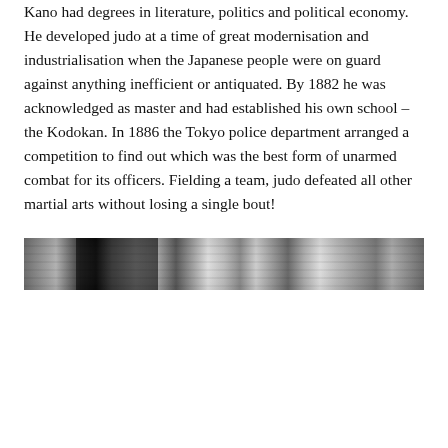Kano had degrees in literature, politics and political economy. He developed judo at a time of great modernisation and industrialisation when the Japanese people were on guard against anything inefficient or antiquated. By 1882 he was acknowledged as master and had established his own school – the Kodokan. In 1886 the Tokyo police department arranged a competition to find out which was the best form of unarmed combat for its officers. Fielding a team, judo defeated all other martial arts without losing a single bout!
[Figure (photo): A black and white horizontal photograph, appears to show a group scene or crowd, heavily grayscale with dark and light bands across the image.]